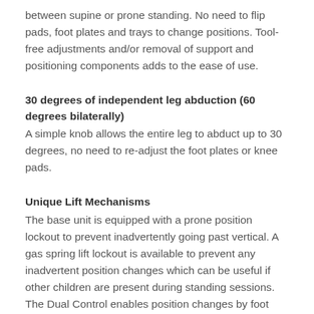between supine or prone standing. No need to flip pads, foot plates and trays to change positions. Tool-free adjustments and/or removal of support and positioning components adds to the ease of use.
30 degrees of independent leg abduction (60 degrees bilaterally)
A simple knob allows the entire leg to abduct up to 30 degrees, no need to re-adjust the foot plates or knee pads.
Unique Lift Mechanisms
The base unit is equipped with a prone position lockout to prevent inadvertently going past vertical. A gas spring lift lockout is available to prevent any inadvertent position changes which can be useful if other children are present during standing sessions. The Dual Control enables position changes by foot pedal or hand control.